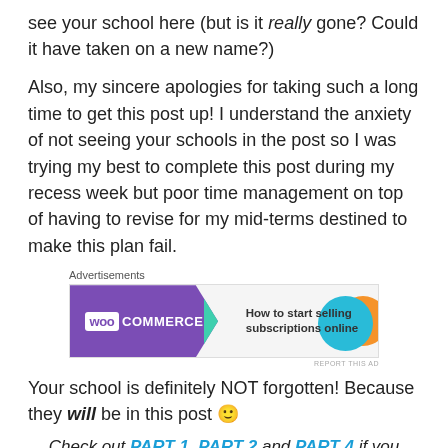see your school here (but is it really gone? Could it have taken on a new name?)
Also, my sincere apologies for taking such a long time to get this post up! I understand the anxiety of not seeing your schools in the post so I was trying my best to complete this post during my recess week but poor time management on top of having to revise for my mid-terms destined to make this plan fail.
[Figure (other): WooCommerce advertisement banner: 'How to start selling subscriptions online']
Your school is definitely NOT forgotten! Because they will be in this post 🙂
Check out PART 1, PART 2 and PART 4 if you haven't!